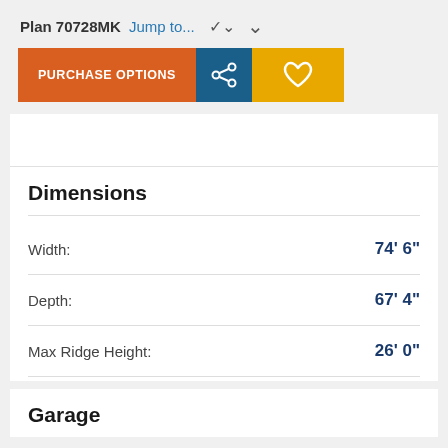Plan 70728MK Jump to...
PURCHASE OPTIONS
Dimensions
| Property | Value |
| --- | --- |
| Width: | 74' 6" |
| Depth: | 67' 4" |
| Max Ridge Height: | 26' 0" |
Garage